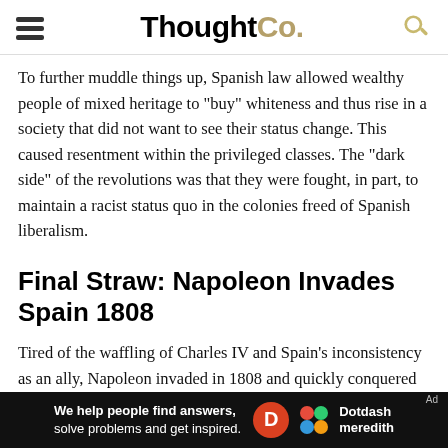ThoughtCo.
To further muddle things up, Spanish law allowed wealthy people of mixed heritage to "buy" whiteness and thus rise in a society that did not want to see their status change. This caused resentment within the privileged classes. The "dark side" of the revolutions was that they were fought, in part, to maintain a racist status quo in the colonies freed of Spanish liberalism.
Final Straw: Napoleon Invades Spain 1808
Tired of the waffling of Charles IV and Spain's inconsistency as an ally, Napoleon invaded in 1808 and quickly conquered not only Spain but Portugal as well. He replaced Charles IV
[Figure (other): Dotdash Meredith advertisement banner: 'We help people find answers, solve problems and get inspired.']